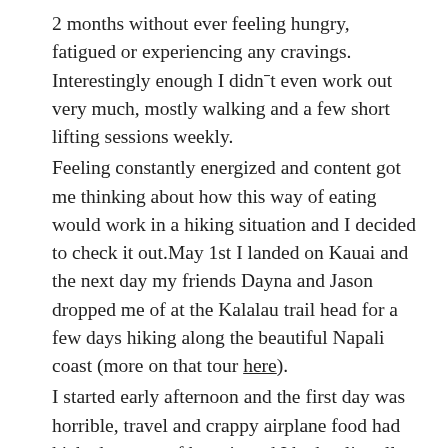2 months without ever feeling hungry, fatigued or experiencing any cravings. Interestingly enough I didn't even work out very much, mostly walking and a few short lifting sessions weekly. Feeling constantly energized and content got me thinking about how this way of eating would work in a hiking situation and I decided to check it out.May 1st I landed on Kauai and the next day my friends Dayna and Jason dropped me of at the Kalalau trail head for a few days hiking along the beautiful Napali coast (more on that tour here). I started early afternoon and the first day was horrible, travel and crappy airplane food had kicked me out of ketosis and I had to literally sit down and rest several times during a long uphill stretch... Having brought only beef jerky, macadamia nuts and coconut oil (besides some instant coffee) for provisions saved me as I was back in ketosis the next day and the